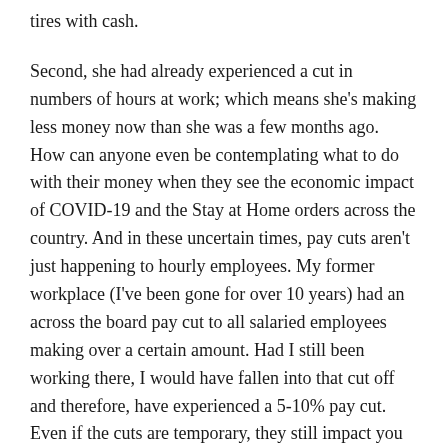tires with cash.
Second, she had already experienced a cut in numbers of hours at work; which means she's making less money now than she was a few months ago. How can anyone even be contemplating what to do with their money when they see the economic impact of COVID-19 and the Stay at Home orders across the country. And in these uncertain times, pay cuts aren't just happening to hourly employees. My former workplace (I've been gone for over 10 years) had an across the board pay cut to all salaried employees making over a certain amount. Had I still been working there, I would have fallen into that cut off and therefore, have experienced a 5-10% pay cut. Even if the cuts are temporary, they still impact you in the moment, and for however long they last. I've often said that it doesn't matter how much money you make, if you're living right up to the amount of your paycheck (or over it), then even a small change can quickly turn into something worse .